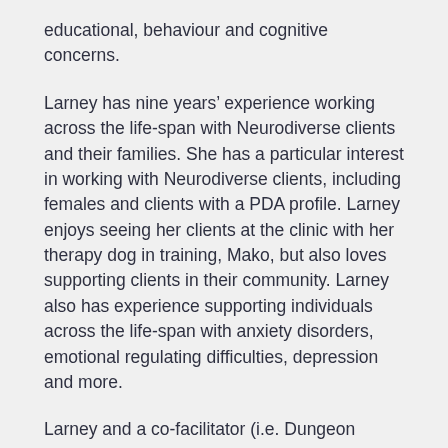educational, behaviour and cognitive concerns.
Larney has nine years’ experience working across the life-span with Neurodiverse clients and their families. She has a particular interest in working with Neurodiverse clients, including females and clients with a PDA profile. Larney enjoys seeing her clients at the clinic with her therapy dog in training, Mako, but also loves supporting clients in their community. Larney also has experience supporting individuals across the life-span with anxiety disorders, emotional regulating difficulties, depression and more.
Larney and a co-facilitator (i.e. Dungeon Master) run a social group for Neurodivergent children/adolescents on Tuesday afternoons at the Mullum Road Clinic in Eltham. This group aims to provide children/adolescents with an opportunity to increase their